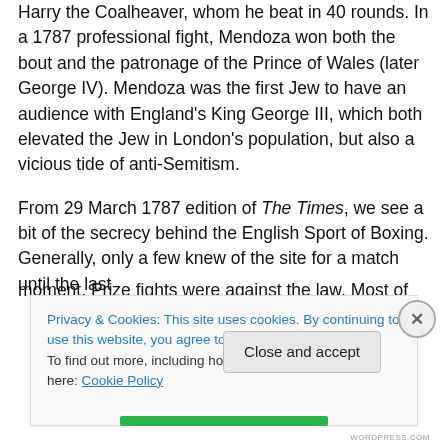Harry the Coalheaver, whom he beat in 40 rounds. In a 1787 professional fight, Mendoza won both the bout and the patronage of the Prince of Wales (later George IV). Mendoza was the first Jew to have an audience with England's King George III, which both elevated the Jew in London's population, but also a vicious tide of anti-Semitism.
From 29 March 1787 edition of The Times, we see a bit of the secrecy behind the English Sport of Boxing. Generally, only a few knew of the site for a match until the last moment. Prize fights were against the law. Most of the
Privacy & Cookies: This site uses cookies. By continuing to use this website, you agree to their use.
To find out more, including how to control cookies, see here: Cookie Policy